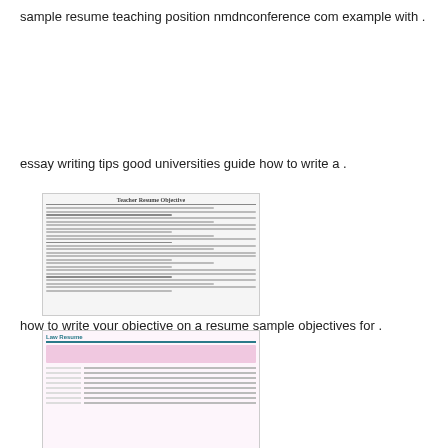sample resume teaching position nmdnconference com example with .
[Figure (screenshot): Thumbnail of a teacher resume objective document with bold title 'Teacher Resume Objective' and multiple lines of text content]
essay writing tips good universities guide how to write a .
how to write your objective on a resume sample objectives for .
[Figure (screenshot): Thumbnail of a law resume document with teal/green header and pink highlighted section, showing structured resume layout]